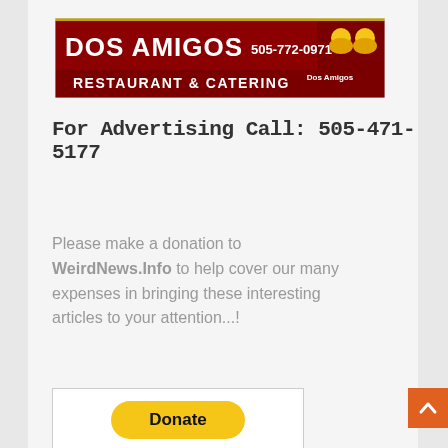[Figure (illustration): Dos Amigos Restaurant & Catering advertisement banner with dark red background, white bold text reading 'DOS AMIGOS 505-772-0971' and 'RESTAURANT & CATERING', and a jester/mascot logo on the right]
For Advertising Call: 505-471-5177
Please make a donation to WeirdNews.Info to help cover our many expenses in bringing these interesting articles to your attention...!
[Figure (other): PayPal Donate button (yellow rounded rectangle) with credit card icons below (Visa, Mastercard, Maestro, Amex, Discover, and another card)]
[Figure (other): Orange back-to-top arrow button in bottom right corner]